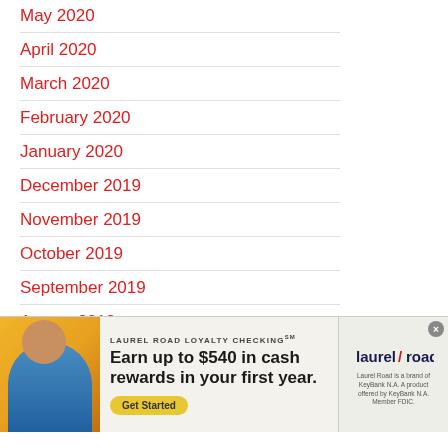May 2020
April 2020
March 2020
February 2020
January 2020
December 2019
November 2019
October 2019
September 2019
August 2019
July 2019
June 2019
[Figure (infographic): Laurel Road Loyalty Checking advertisement banner. Shows a person holding a phone on yellow/gold background, headline: Earn up to $540 in cash rewards in your first year. Get Started button. Laurel Road logo on right side with fine print about KeyBank N.A.]